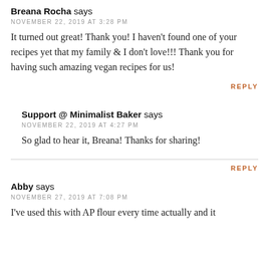Breana Rocha says
NOVEMBER 22, 2019 AT 3:28 PM
It turned out great! Thank you! I haven't found one of your recipes yet that my family & I don't love!!! Thank you for having such amazing vegan recipes for us!
REPLY
Support @ Minimalist Baker says
NOVEMBER 22, 2019 AT 4:27 PM
So glad to hear it, Breana! Thanks for sharing!
REPLY
Abby says
NOVEMBER 27, 2019 AT 7:08 PM
I've used this with AP flour every time actually and it